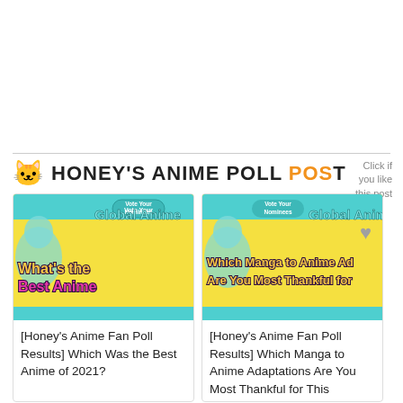HONEY'S ANIME POLL POST
Click if you like this post
[Figure (screenshot): Honey's Anime Fan Poll banner - What's the Best Anime]
[Honey's Anime Fan Poll Results] Which Was the Best Anime of 2021?
[Figure (screenshot): Honey's Anime Fan Poll banner - Which Manga to Anime Adaptations Are You Most Thankful for]
[Honey's Anime Fan Poll Results] Which Manga to Anime Adaptations Are You Most Thankful for This